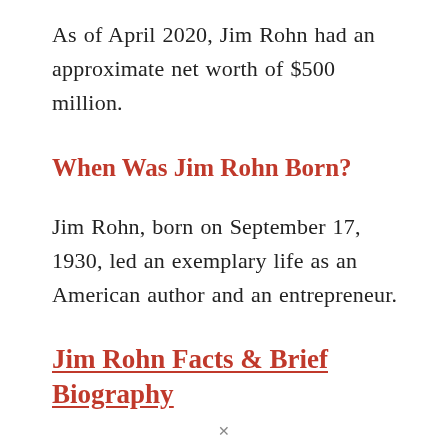As of April 2020, Jim Rohn had an approximate net worth of $500 million.
When Was Jim Rohn Born?
Jim Rohn, born on September 17, 1930, led an exemplary life as an American author and an entrepreneur.
Jim Rohn Facts & Brief Biography